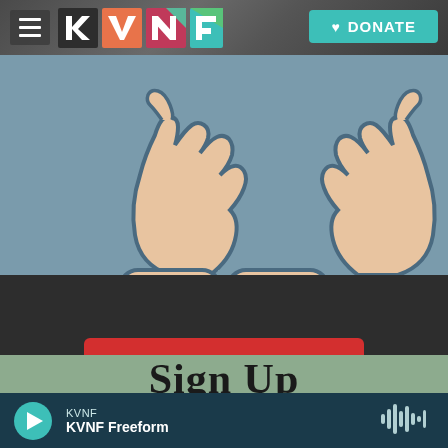KVNF radio website header with menu, logo, and DONATE button
[Figure (illustration): Illustration of two open hands (cupped/offering gesture) in peach/skin tone with steel blue outlines on a muted blue-grey background]
[Figure (infographic): Dark charcoal background section with a red button labeled DONATE YOUR CAR!]
[Figure (screenshot): Green-toned banner beginning with large serif text 'Sign Up']
KVNF — KVNF Freeform (audio player bar with play button and waveform icon)